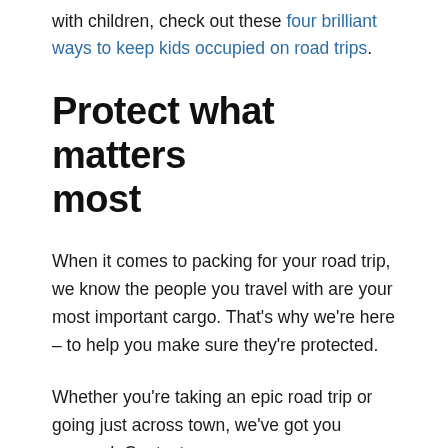with children, check out these four brilliant ways to keep kids occupied on road trips.
Protect what matters most
When it comes to packing for your road trip, we know the people you travel with are your most important cargo. That's why we're here – to help you make sure they're protected.
Whether you're taking an epic road trip or going just across town, we've got you covered. Contact your